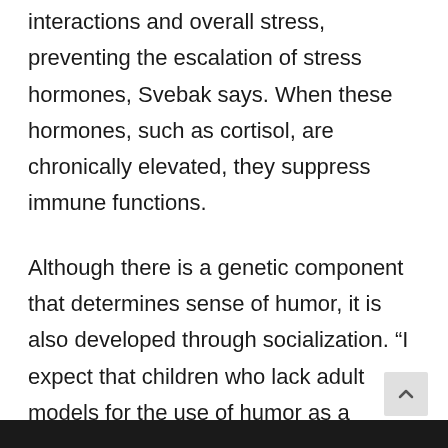interactions and overall stress, preventing the escalation of stress hormones, Svebak says. When these hormones, such as cortisol, are chronically elevated, they suppress immune functions.
Although there is a genetic component that determines sense of humor, it is also developed through socialization. “I expect that children who lack adult models for the use of humor as a coping resource in the face of challenges are less likely to activate their sense of humor to cope with everyday life when they grow up,” he says. But if you had a humorless childhood, never fear—studies show people can learn to embrace the absurdity of life at any age.